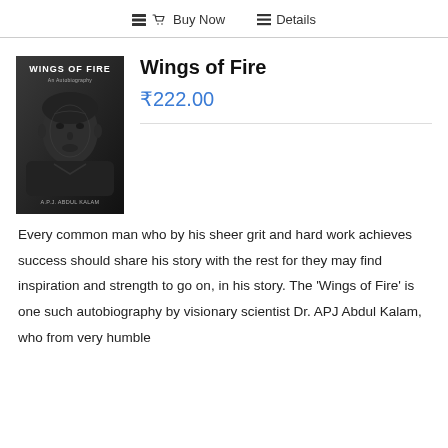Buy Now   Details
[Figure (photo): Book cover of 'Wings of Fire' showing a black and white portrait of APJ Abdul Kalam with the book title at the top]
Wings of Fire
₹222.00
Every common man who by his sheer grit and hard work achieves success should share his story with the rest for they may find inspiration and strength to go on, in his story. The 'Wings of Fire' is one such autobiography by visionary scientist Dr. APJ Abdul Kalam, who from very humble